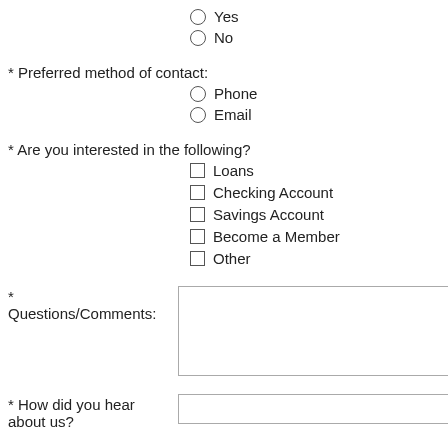Yes
No
* Preferred method of contact:
Phone
Email
* Are you interested in the following?
Loans
Checking Account
Savings Account
Become a Member
Other
* Questions/Comments:
* How did you hear about us?